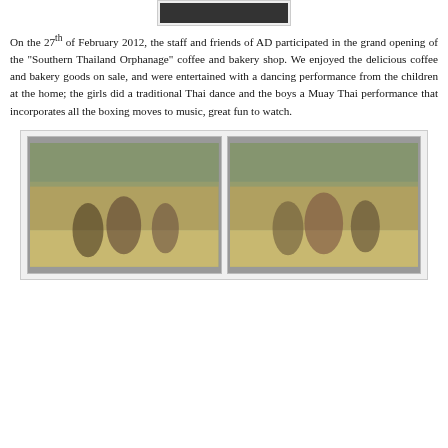[Figure (photo): Partial top of a photo at the top of the page, showing a dark image]
On the 27th of February 2012, the staff and friends of AD participated in the grand opening of the "Southern Thailand Orphanage" coffee and bakery shop. We enjoyed the delicious coffee and bakery goods on sale, and were entertained with a dancing performance from the children at the home; the girls did a traditional Thai dance and the boys a Muay Thai performance that incorporates all the boxing moves to music, great fun to watch.
[Figure (photo): Left photo showing children performing Muay Thai boxing performance outdoors with spectators watching]
[Figure (photo): Right photo showing girls performing traditional Thai dance outdoors with spectators watching]